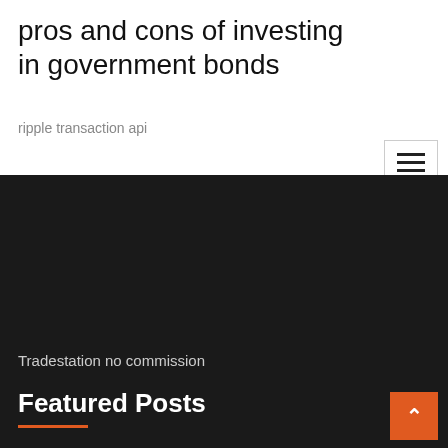pros and cons of investing in government bonds
ripple transaction api
Tradestation no commission
Featured Posts
Margin trading interest rate td ameritrade
Online money investment in ghana
Best way to mine ripple
Stock market cheapest stocks
How to get rich using forex